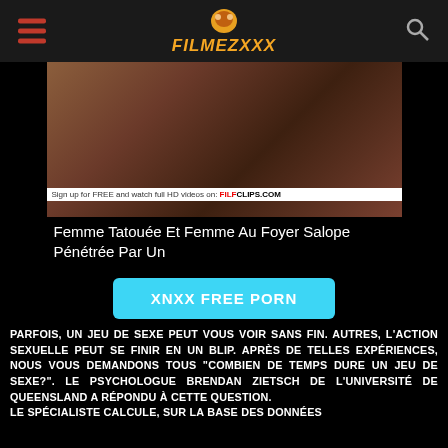FILMEZXXX
[Figure (photo): Thumbnail image of adult video content with overlay text: Sign up for FREE and watch full HD videos on: FILFCLIPS.COM]
Femme Tatouée Et Femme Au Foyer Salope Pénétrée Par Un
[Figure (other): XNXX FREE PORN button in cyan/blue color]
PARFOIS, UN JEU DE SEXE PEUT VOUS VOIR SANS FIN. AUTRES, L'ACTION SEXUELLE PEUT SE FINIR EN UN BLIP. APRÈS DE TELLES EXPÉRIENCES, NOUS VOUS DEMANDONS TOUS "COMBIEN DE TEMPS DURE UN JEU DE SEXE?". LE PSYCHOLOGUE BRENDAN ZIETSCH DE L'UNIVERSITÉ DE QUEENSLAND A RÉPONDU À CETTE QUESTION.
LE SPÉCIALISTE CALCULE, SUR LA BASE DES DONNÉES